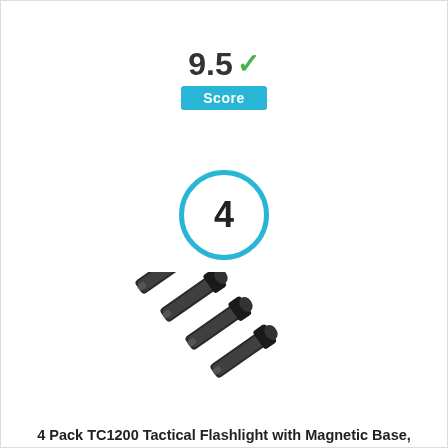[Figure (infographic): Score display showing '9.5' with a green checkmark and a cyan 'Score' badge below]
[Figure (infographic): Rank badge: number 4 inside a cyan-bordered circle]
[Figure (photo): Product photo of 4 black tactical flashlights arranged diagonally]
4 Pack TC1200 Tactical Flashlight with Magnetic Base, Super Bright 2000 Lumens 5 Light Modes Zoomable XML T LED Flashlights Torch for Hurricane,Camping,Home Emergency